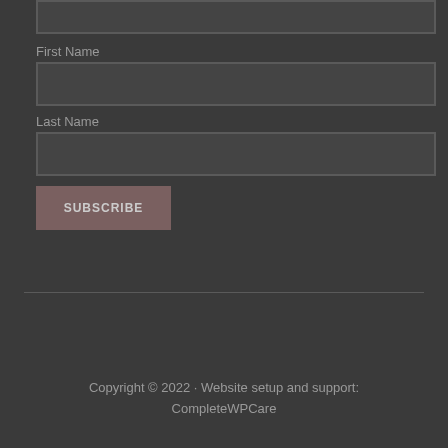[Figure (screenshot): Partial top input box (cut off at top of page)]
First Name
[Figure (screenshot): First Name input text field, empty]
Last Name
[Figure (screenshot): Last Name input text field, empty]
SUBSCRIBE
Copyright © 2022 · Website setup and support: CompleteWPCare